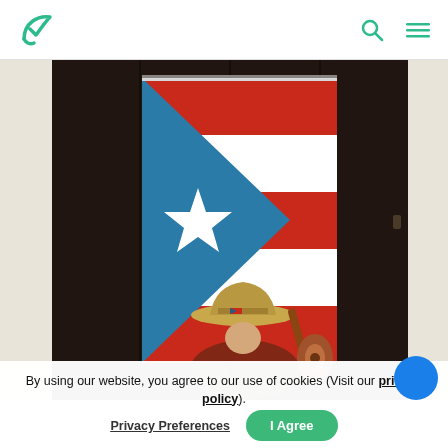Website navigation header with logo (leaf/check icon), search icon, and hamburger menu icon
[Figure (photo): A person wearing a straw hat with a small Puerto Rico flag pin, playing guitar, standing in front of a large Puerto Rico flag hanging on a dark wall. The flag shows red and white stripes with a blue triangle and white star.]
By using our website, you agree to our use of cookies (Visit our privacy policy).
Privacy Preferences
I Agree